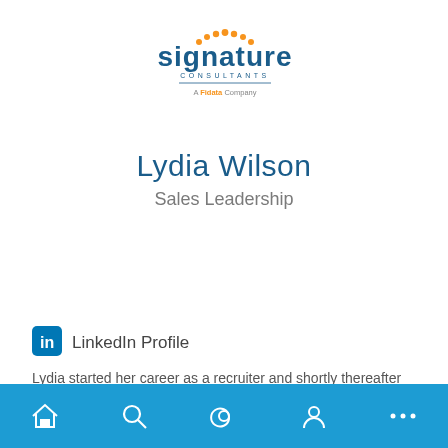[Figure (logo): Signature Consultants logo with orange dots arc and 'A Fiserv Company' tagline]
Lydia Wilson
Sales Leadership
LinkedIn Profile
Lydia started her career as a recruiter and shortly thereafter transitioned into sales and then management. Passionate
[Figure (other): Mobile app navigation bar with home, search, at, profile, and more icons]